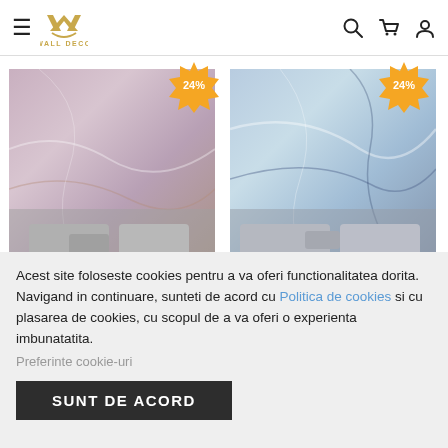WALL DECO — navigation header with hamburger menu, logo, search, cart, account icons
[Figure (photo): Living room interior with pink/mauve marble effect wallpaper mural, grey sofas, with 24% discount badge]
[Figure (photo): Living room interior with blue marble effect wallpaper mural, grey sofas, with 24% discount badge]
Acest site foloseste cookies pentru a va oferi functionalitatea dorita. Navigand in continuare, sunteti de acord cu Politica de cookies si cu plasarea de cookies, cu scopul de a va oferi o experienta imbunatatita.
Preferinte cookie-uri
SUNT DE ACORD